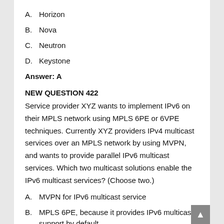A.    Horizon
B.    Nova
C.    Neutron
D.    Keystone
Answer: A
NEW QUESTION 422
Service provider XYZ wants to implement IPv6 on their MPLS network using MPLS 6PE or 6VPE techniques. Currently XYZ providers IPv4 multicast services over an MPLS network by using MVPN, and wants to provide parallel IPv6 multicast services. Which two multicast solutions enable the IPv6 multicast services? (Choose two.)
A.    MVPN for IPv6 multicast service
B.    MPLS 6PE, because it provides IPv6 multicast support by default
C.    PIM-DM to enable IPv6 multicast in conjunction with MPLS